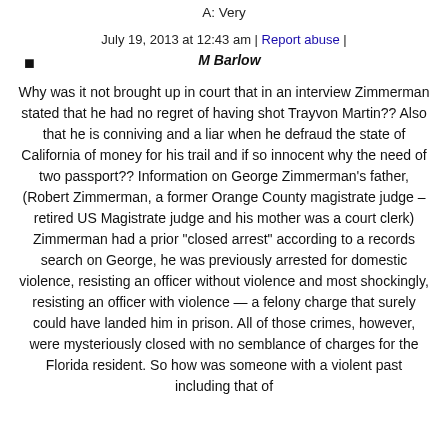A: Very
July 19, 2013 at 12:43 am | Report abuse |
M Barlow
Why was it not brought up in court that in an interview Zimmerman stated that he had no regret of having shot Trayvon Martin?? Also that he is conniving and a liar when he defraud the state of California of money for his trail and if so innocent why the need of two passport?? Information on George Zimmerman's father, (Robert Zimmerman, a former Orange County magistrate judge – retired US Magistrate judge and his mother was a court clerk) Zimmerman had a prior "closed arrest" according to a records search on George, he was previously arrested for domestic violence, resisting an officer without violence and most shockingly, resisting an officer with violence — a felony charge that surely could have landed him in prison. All of those crimes, however, were mysteriously closed with no semblance of charges for the Florida resident. So how was someone with a violent past including that of